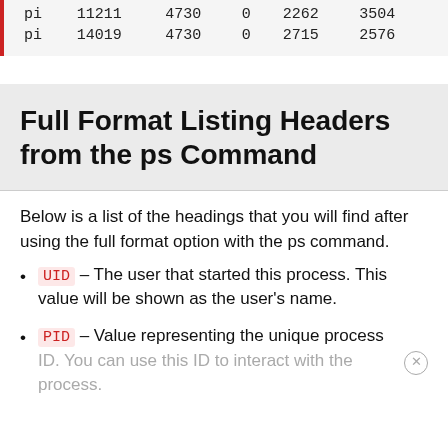| pi | 11211 | 4730 | 0 | 2262 | 3504 |
| pi | 14019 | 4730 | 0 | 2715 | 2576 |
Full Format Listing Headers from the ps Command
Below is a list of the headings that you will find after using the full format option with the ps command.
UID – The user that started this process. This value will be shown as the user's name.
PID – Value representing the unique process ID. You can use this ID to interact with the process.